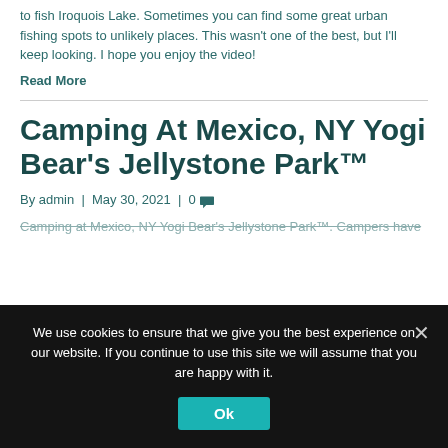to fish Iroquois Lake. Sometimes you can find some great urban fishing spots to unlikely places. This wasn't one of the best, but I'll keep looking. I hope you enjoy the video!
Read More
Camping At Mexico, NY Yogi Bear's Jellystone Park™
By admin | May 30, 2021 | 0
Camping at Mexico, NY Yogi Bear's Jellystone Park™. Campers have
We use cookies to ensure that we give you the best experience on our website. If you continue to use this site we will assume that you are happy with it.